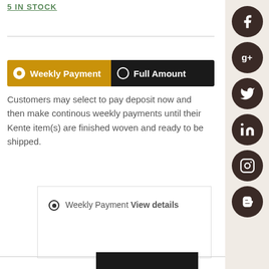5 IN STOCK
[Figure (infographic): Payment toggle button with two options: 'Weekly Payment' (selected, gold background) and 'Full Amount' (dark background)]
Customers may select to pay deposit now and then make continous weekly payments until their Kente item(s) are finished woven and ready to be shipped.
Weekly Payment View details
[Figure (infographic): Sidebar with social media icon buttons: Facebook, Google+, Twitter, LinkedIn, Instagram, Blogger — all dark brown circles with white icons]